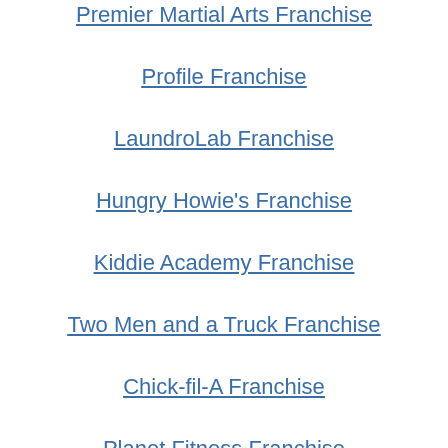Premier Martial Arts Franchise
Profile Franchise
LaundroLab Franchise
Hungry Howie's Franchise
Kiddie Academy Franchise
Two Men and a Truck Franchise
Chick-fil-A Franchise
Planet Fitness Franchise
Ace Handyman Services Franchise